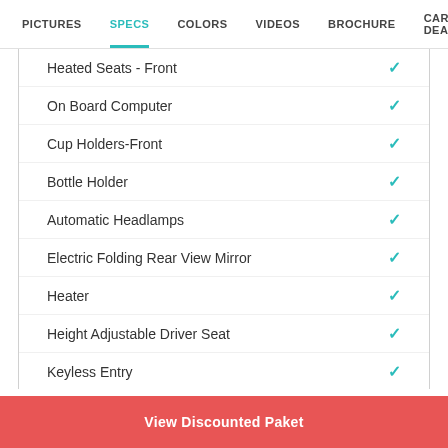PICTURES  SPECS  COLORS  VIDEOS  BROCHURE  CAR DEALERS
Heated Seats - Front
On Board Computer
Cup Holders-Front
Bottle Holder
Automatic Headlamps
Electric Folding Rear View Mirror
Heater
Height Adjustable Driver Seat
Keyless Entry
View Discounted Paket